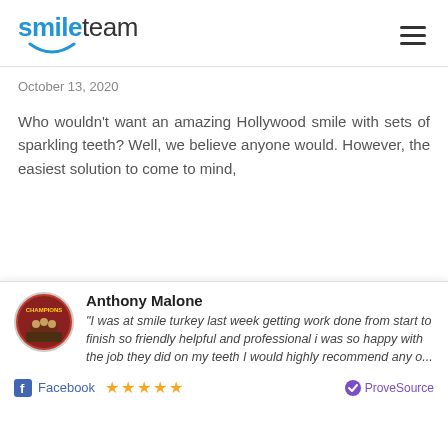[Figure (logo): SmileTeam logo with blue 'smile' text and dark 'team' text, with blue curved underline/smile graphic]
October 13, 2020
Who wouldn't want an amazing Hollywood smile with sets of sparkling teeth? Well, we believe anyone would. However, the easiest solution to come to mind,
[Figure (logo): SmileTeam logo with blue italic 'smile' and dark italic 'team' text, larger version on grey background]
Anthony Malone
"I was at smile turkey last week getting work done from start to finish so friendly helpful and professional i was so happy with the job they did on my teeth I would highly recommend any o...
Facebook ★★★★★ ProveSource